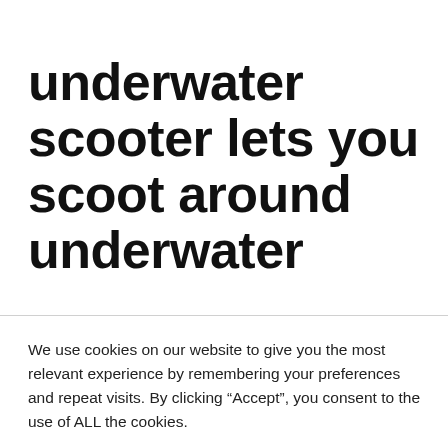underwater scooter lets you scoot around underwater
We use cookies on our website to give you the most relevant experience by remembering your preferences and repeat visits. By clicking “Accept”, you consent to the use of ALL the cookies. Do not sell my personal information.